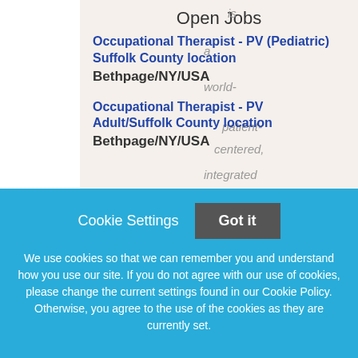Open Jobs
Occupational Therapist - PV (Pediatric) Suffolk County location
Bethpage/NY/USA
Occupational Therapist - PV Adult/Suffolk County location
Bethpage/NY/USA
Cookie Settings  Got it
We use cookies so that we can remember you and understand how you use our site. If you do not agree with our use of cookies, please change the current settings found in our Cookie Policy. Otherwise, you agree to the use of the cookies as they are currently set.